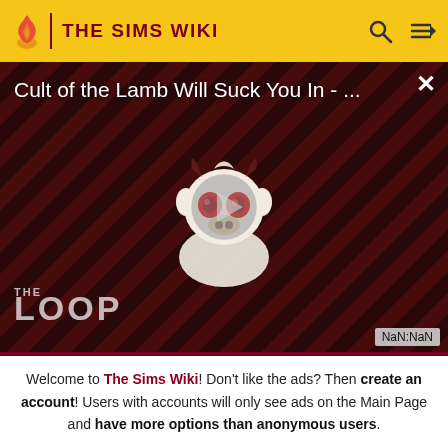THE SIMS WIKI
[Figure (screenshot): Video ad overlay: 'Cult of the Lamb Will Suck You In - ...' with play button, THE LOOP branding, NaN:NaN timer, and close X button. Dark striped background with cartoon character.]
|  |  | vegetables, eggs, and butter |  |
Welcome to The Sims Wiki! Don't like the ads? Then create an account! Users with accounts will only see ads on the Main Page and have more options than anonymous users.